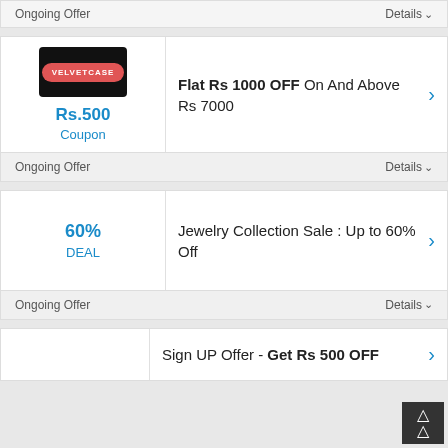Ongoing Offer
Details
[Figure (logo): VelvetCase logo - black rectangle with red pill-shaped label reading VELVETCASE in white text]
Rs.500 Coupon
Flat Rs 1000 OFF On And Above Rs 7000
Ongoing Offer
Details
60% DEAL
Jewelry Collection Sale : Up to 60% Off
Ongoing Offer
Details
Sign UP Offer - Get Rs 500 OFF